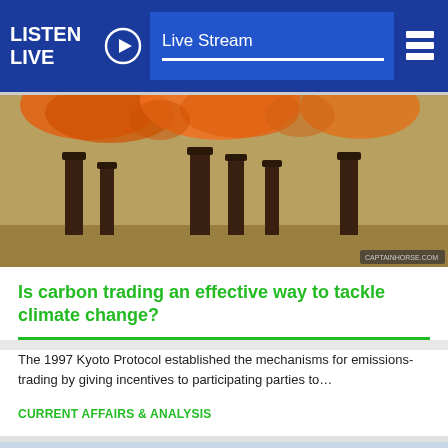LISTEN LIVE | Live Stream
[Figure (photo): Industrial smokestacks emitting large plumes of orange and yellow fire/smoke against a hazy sky]
Is carbon trading an effective way to tackle climate change?
The 1997 Kyoto Protocol established the mechanisms for emissions-trading by giving incentives to participating parties to…
CURRENT AFFAIRS & ANALYSIS
[Figure (photo): Polar bear cub or small polar bear looking upward, on a snowy background]